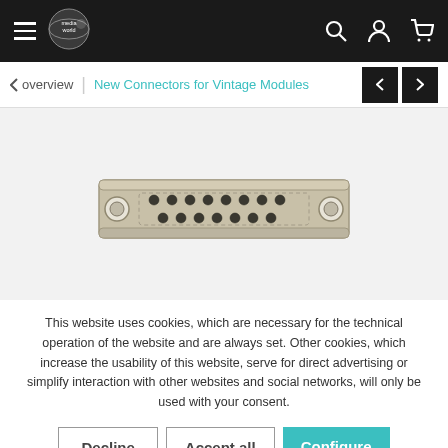Navigation bar with hamburger menu, logo, search, account, and cart icons
overview | New Connectors for Vintage Modules
[Figure (photo): Photo of a beige/tan DB-15 style female connector with two rows of pin holes and mounting holes on either end, shown on a light grey background.]
This website uses cookies, which are necessary for the technical operation of the website and are always set. Other cookies, which increase the usability of this website, serve for direct advertising or simplify interaction with other websites and social networks, will only be used with your consent.
Decline
Accept all
Configure